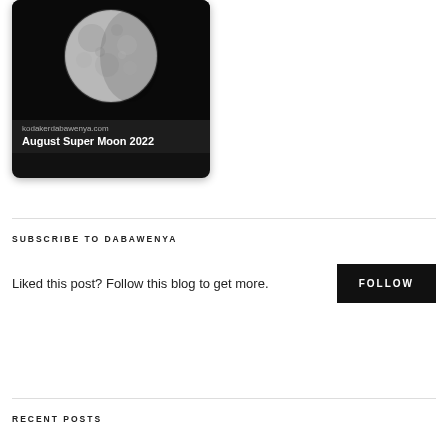[Figure (photo): A moon photograph card with dark background. Shows a full moon image. Bottom of card shows site URL 'kodakerdabawenya.com' and title 'August Super Moon 2022'.]
SUBSCRIBE TO DABAWENYA
Liked this post? Follow this blog to get more.
RECENT POSTS